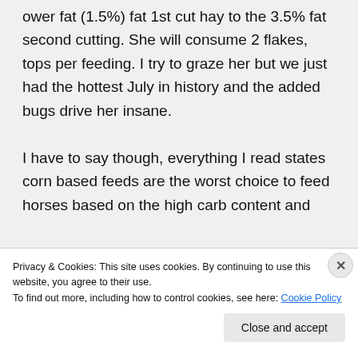ower fat (1.5%) fat 1st cut hay to the 3.5% fat second cutting. She will consume 2 flakes, tops per feeding. I try to graze her but we just had the hottest July in history and the added bugs drive her insane.

I have to say though, everything I read states corn based feeds are the worst choice to feed horses based on the high carb content and
Privacy & Cookies: This site uses cookies. By continuing to use this website, you agree to their use.
To find out more, including how to control cookies, see here: Cookie Policy
Close and accept